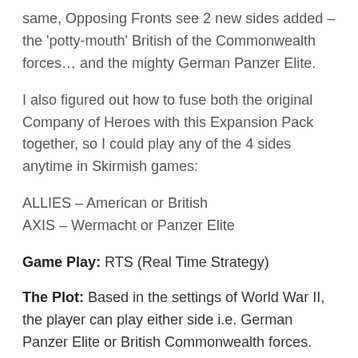same, Opposing Fronts see 2 new sides added – the 'potty-mouth' British of the Commonwealth forces… and the mighty German Panzer Elite.
I also figured out how to fuse both the original Company of Heroes with this Expansion Pack together, so I could play any of the 4 sides anytime in Skirmish games:
ALLIES – American or British
AXIS – Wermacht or Panzer Elite
Game Play: RTS (Real Time Strategy)
The Plot: Based in the settings of World War II, the player can play either side i.e. German Panzer Elite or British Commonwealth forces. (This is unlike in the original CoH where you